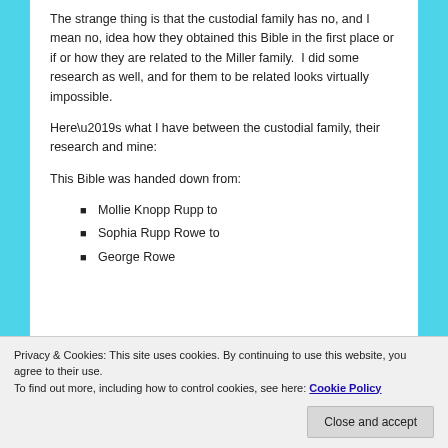The strange thing is that the custodial family has no, and I mean no, idea how they obtained this Bible in the first place or if or how they are related to the Miller family.  I did some research as well, and for them to be related looks virtually impossible.
Here’s what I have between the custodial family, their research and mine:
This Bible was handed down from:
Mollie Knopp Rupp to
Sophia Rupp Rowe to
George Rowe
Privacy & Cookies: This site uses cookies. By continuing to use this website, you agree to their use.
To find out more, including how to control cookies, see here: Cookie Policy